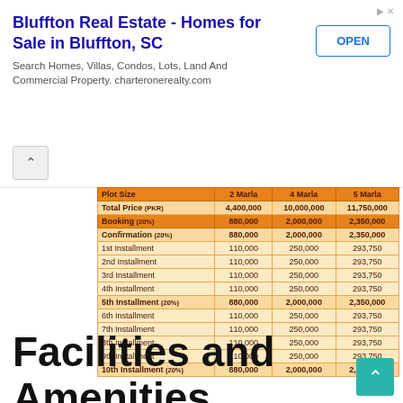[Figure (screenshot): Ad banner for Bluffton Real Estate - Homes for Sale in Bluffton, SC with OPEN button]
| Plot Size | 2 Marla | 4 Marla | 5 Marla |
| --- | --- | --- | --- |
| Total Price (PKR) | 4,400,000 | 10,000,000 | 11,750,000 |
| Booking (20%) | 880,000 | 2,000,000 | 2,350,000 |
| Confirmation (20%) | 880,000 | 2,000,000 | 2,350,000 |
| 1st Installment | 110,000 | 250,000 | 293,750 |
| 2nd Installment | 110,000 | 250,000 | 293,750 |
| 3rd Installment | 110,000 | 250,000 | 293,750 |
| 4th Installment | 110,000 | 250,000 | 293,750 |
| 5th Installment (20%) | 880,000 | 2,000,000 | 2,350,000 |
| 6th Installment | 110,000 | 250,000 | 293,750 |
| 7th Installment | 110,000 | 250,000 | 293,750 |
| 8th Installment | 110,000 | 250,000 | 293,750 |
| 9th Installment | 110,000 | 250,000 | 293,750 |
| 10th Installment (20%) | 880,000 | 2,000,000 | 2,350,000 |
Facilities and Amenities